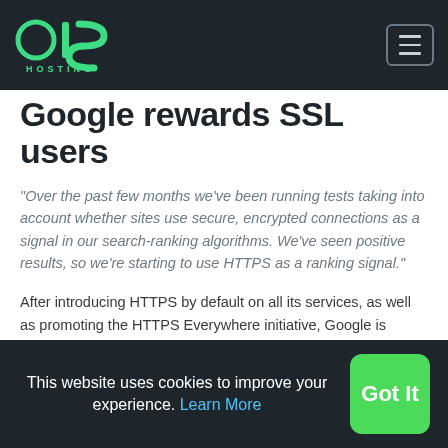OIS HOSTING
Google rewards SSL users
“Over the past few months we’ve been running tests taking into account whether sites use secure, encrypted connections as a signal in our search-ranking algorithms. We’ve seen positive results, so we’re starting to use HTTPS as a ranking signal.”
After introducing HTTPS by default on all its services, as well as promoting the HTTPS Everywhere initiative, Google is encouraging stronger security once again by reviewing their algorithms to reward SSL users.
This website uses cookies to improve your experience. Learn More  Got It